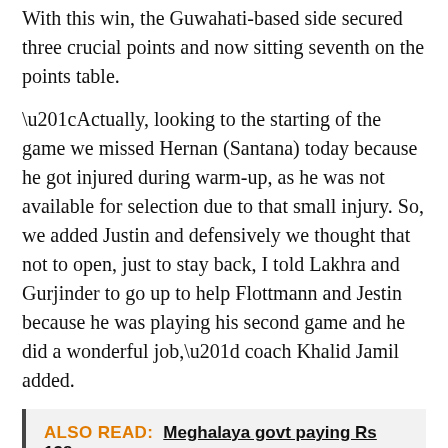With this win, the Guwahati-based side secured three crucial points and now sitting seventh on the points table.
“Actually, looking to the starting of the game we missed Hernan (Santana) today because he got injured during warm-up, as he was not available for selection due to that small injury. So, we added Justin and defensively we thought that not to open, just to stay back, I told Lakhra and Gurjinder to go up to help Flottmann and Jestin because he was playing his second game and he did a wonderful job,” coach Khalid Jamil added.
ALSO READ: Meghalaya govt paying Rs 138 crore extra for smart meters: Mukul Sangma writes to PM
“And I told I agree to help Khuru in the defense and...